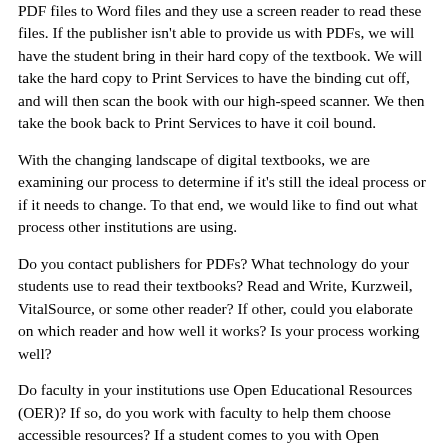PDF files to Word files and they use a screen reader to read these files. If the publisher isn't able to provide us with PDFs, we will have the student bring in their hard copy of the textbook. We will take the hard copy to Print Services to have the binding cut off, and will then scan the book with our high-speed scanner. We then take the book back to Print Services to have it coil bound.
With the changing landscape of digital textbooks, we are examining our process to determine if it's still the ideal process or if it needs to change. To that end, we would like to find out what process other institutions are using.
Do you contact publishers for PDFs? What technology do your students use to read their textbooks? Read and Write, Kurzweil, VitalSource, or some other reader? If other, could you elaborate on which reader and how well it works? Is your process working well?
Do faculty in your institutions use Open Educational Resources (OER)? If so, do you work with faculty to help them choose accessible resources? If a student comes to you with Open Educational Resources that are not accessible, do you remediate them to make them accessible? If so, do you bill this as a service?